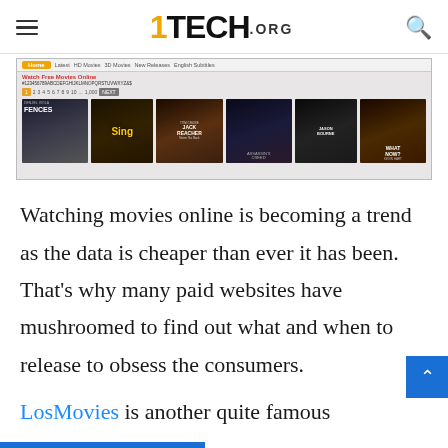1TECH.ORG — hamburger menu and search icon
[Figure (screenshot): Screenshot of a free movies website showing movie posters: Fences, Sing, Jack Reacher, Assassin's Creed, Bourne, What Now. Navigation bar with categories: Latest, HD Movies, 3D Movies, New Releases, English Subtitles. Orange home button. Alphabetical navigation. Pagination buttons.]
Watching movies online is becoming a trend as the data is cheaper than ever it has been. That's why many paid websites have mushroomed to find out what and when to release to obsess the consumers.
LosMovies is another quite famous alternative to